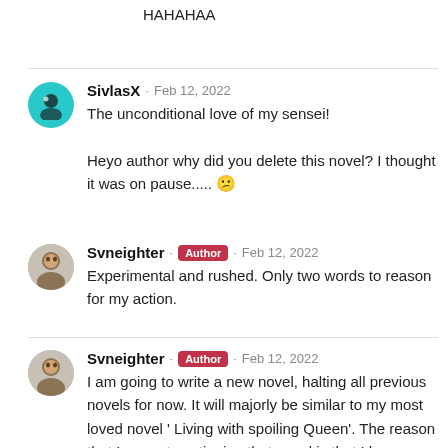HAHAHAA
SivlasX · Feb 12, 2022
The unconditional love of my sensei!

Heyo author why did you delete this novel? I thought it was on pause..... 😕
Svneighter · Author · Feb 12, 2022
Experimental and rushed. Only two words to reason for my action.
Svneighter · Author · Feb 12, 2022
I am going to write a new novel, halting all previous novels for now. It will majorly be similar to my most loved novel ' Living with spoiling Queen'. The reason that I am not continuing that novel is that I have done some